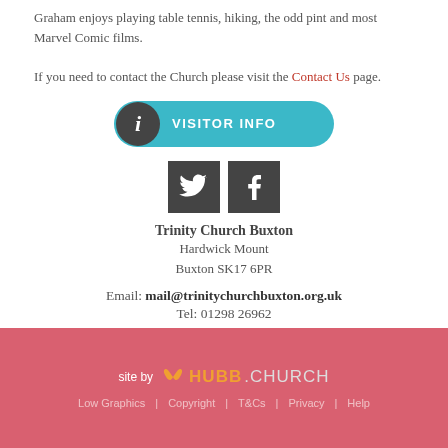Graham enjoys playing table tennis, hiking, the odd pint and most Marvel Comic films.
If you need to contact the Church please visit the Contact Us page.
[Figure (other): Visitor Info button with info icon and teal background]
[Figure (other): Twitter and Facebook social media icons in dark grey squares]
Trinity Church Buxton
Hardwick Mount
Buxton SK17 6PR
Email: mail@trinitychurchbuxton.org.uk
Tel: 01298 26962
site by HUBB.CHURCH
Low Graphics | Copyright | T&Cs | Privacy | Help